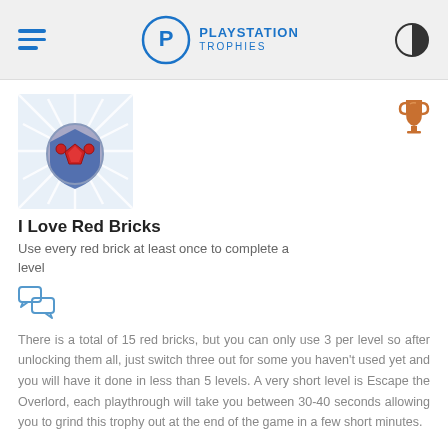PLAYSTATION TROPHIES
[Figure (screenshot): Game trophy image - shield with red gems on starburst background]
I Love Red Bricks
Use every red brick at least once to complete a level
There is a total of 15 red bricks, but you can only use 3 per level so after unlocking them all, just switch three out for some you haven't used yet and you will have it done in less than 5 levels. A very short level is Escape the Overlord, each playthrough will take you between 30-40 seconds allowing you to grind this trophy out at the end of the game in a few short minutes.